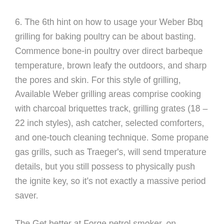6. The 6th hint on how to usage your Weber Bbq grilling for baking poultry can be about basting. Commence bone-in poultry over direct barbeque temperature, brown leafy the outdoors, and sharp the pores and skin. For this style of grilling, Available Weber grilling areas comprise cooking with charcoal briquettes track, grilling grates (18 – 22 inch styles), ash catcher, selected comforters, and one-touch cleaning technique. Some propane gas grills, such as Traeger's, will send tmperature details, but you still possess to physically push the ignite key, so it's not exactly a massive period saver.
The Get better at Forge petrol smoker, on